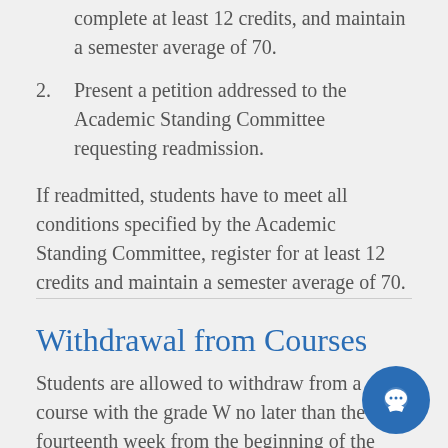complete at least 12 credits, and maintain a semester average of 70.
2. Present a petition addressed to the Academic Standing Committee requesting readmission.
If readmitted, students have to meet all conditions specified by the Academic Standing Committee, register for at least 12 credits and maintain a semester average of 70.
Withdrawal from Courses
Students are allowed to withdraw from a course with the grade W no later than the fourteenth week from the beginning of the semester. No student is allowed to withdraw from any course more than once, nor to